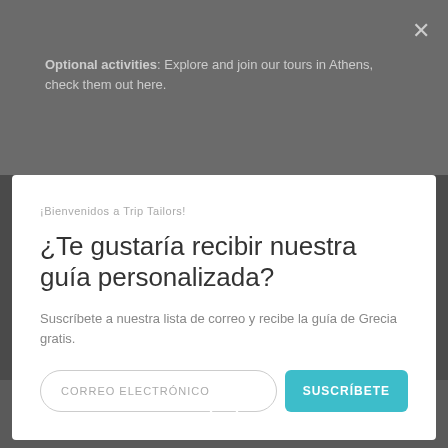Optional activities: Explore and join our tours in Athens, check them out here.
¡Bienvenidos a Trip Tailors!
¿Te gustaría recibir nuestra guía personalizada?
Suscríbete a nuestra lista de correo y recibe la guía de Grecia gratis.
CORREO ELECTRÓNICO
SUSCRÍBETE
Contáctanos